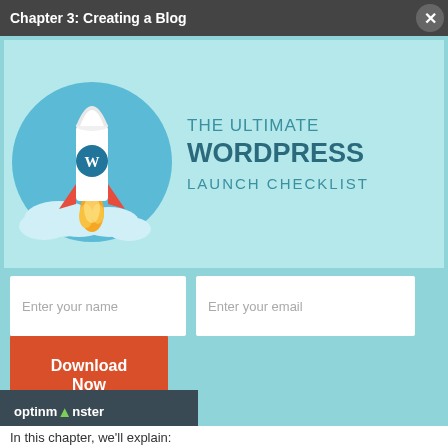Chapter 3: Creating a Blog
[Figure (illustration): Popup modal with light teal background showing a rocket with WordPress logo launching from clouds, with text 'THE ULTIMATE WORDPRESS LAUNCH CHECKLIST'. Below are two input fields ('Enter your name', 'Enter your email'), a red 'Download Now' button, and an OptinMonster logo bar.]
In this chapter, we'll explain: